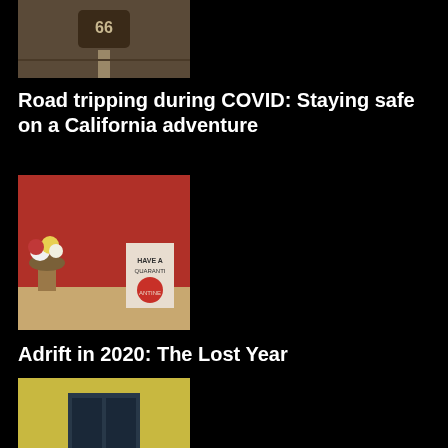[Figure (photo): Thumbnail of a road with Route 66 or similar highway marking painted on asphalt, dark brown tones]
Road tripping during COVID: Staying safe on a California adventure
[Figure (photo): Thumbnail showing a red wall background with flowers in a vase and a quarantine-themed book or card]
Adrift in 2020: The Lost Year
[Figure (photo): Thumbnail of a person playing guitar in front of a large dark blue door on a yellow building, likely in Portugal]
Portugal: Lisbon, Sintra, and Evora
[Figure (photo): Thumbnail of a colorful mural with decorative panels featuring illustrated scenes]